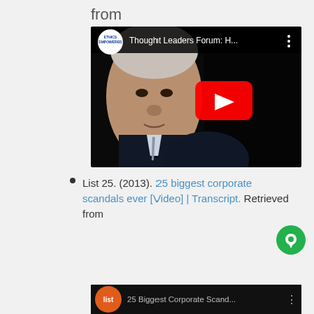from
[Figure (screenshot): YouTube video thumbnail showing an elderly man in a dark suit with a gray tie against a black background. The channel is 'Ethics Empowered'. Title reads 'Thought Leaders Forum: H…'. Red YouTube play button in center.]
List 25. (2013). 25 biggest corporate scandals ever [Video] | Transcript. Retrieved from
[Figure (screenshot): Partial YouTube video thumbnail showing a red circle with 'list' text and partial title '25 Biggest Corporate Scand…']